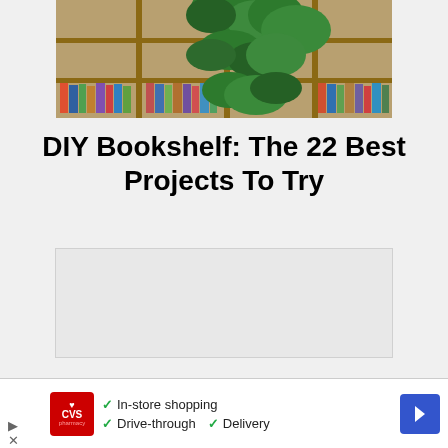[Figure (photo): Photo of a bookshelf filled with books and green plants/vines growing around and through the shelves]
DIY Bookshelf: The 22 Best Projects To Try
[Figure (other): Advertisement placeholder box (light gray rectangle)]
[Figure (other): CVS Pharmacy advertisement banner showing In-store shopping, Drive-through, and Delivery options with navigation arrow]